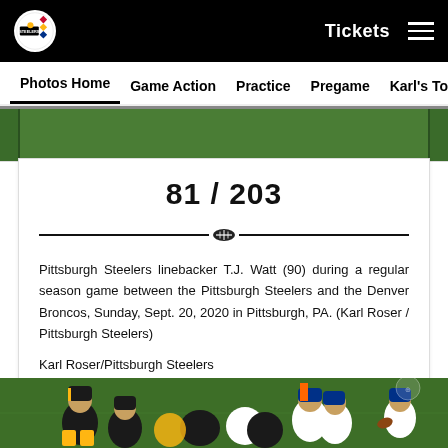Tickets  ☰
Photos Home  Game Action  Practice  Pregame  Karl's Top Pics
[Figure (photo): Top portion of a Pittsburgh Steelers photo gallery, green field background visible]
81 / 203
Pittsburgh Steelers linebacker T.J. Watt (90) during a regular season game between the Pittsburgh Steelers and the Denver Broncos, Sunday, Sept. 20, 2020 in Pittsburgh, PA. (Karl Roser / Pittsburgh Steelers)
Karl Roser/Pittsburgh Steelers
[Figure (photo): Football game action photo showing Pittsburgh Steelers (black/yellow) playing against Denver Broncos (white/blue) on the field]